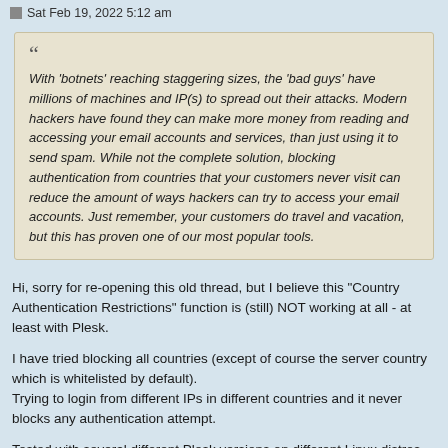Sat Feb 19, 2022 5:12 am
With 'botnets' reaching staggering sizes, the 'bad guys' have millions of machines and IP(s) to spread out their attacks. Modern hackers have found they can make more money from reading and accessing your email accounts and services, than just using it to send spam. While not the complete solution, blocking authentication from countries that your customers never visit can reduce the amount of ways hackers can try to access your email accounts. Just remember, your customers do travel and vacation, but this has proven one of our most popular tools.
Hi, sorry for re-opening this old thread, but I believe this "Country Authentication Restrictions" function is (still) NOT working at all - at least with Plesk.
I have tried blocking all countries (except of course the server country which is whitelisted by default).
Trying to login from different IPs in different countries and it never blocks any authentication attempt.
Tested with several different Plesk versions on different Linux distros (Centos 7 + Ubuntu) over the past 2 years
Currently still not working and recently tested with Plesk Obsidian 18.0.41 on both mentioned distros.